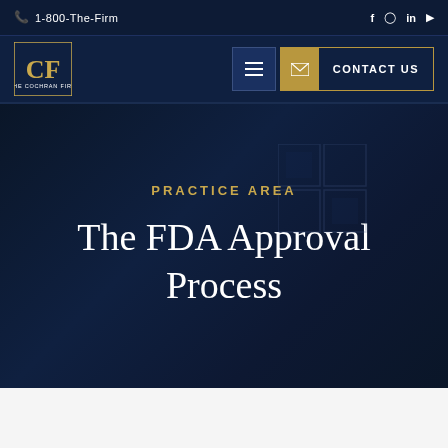1-800-The-Firm
[Figure (logo): The Cochran Firm logo — stylized CF monogram with firm name below in white on dark navy background]
CONTACT US
PRACTICE AREA
The FDA Approval Process